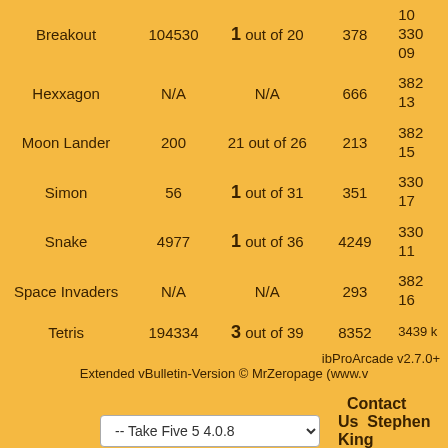| Game | Score | Rank | Plays |  |
| --- | --- | --- | --- | --- |
| Breakout | 104530 | 1 out of 20 | 378 | 330
09 |
| Hexxagon | N/A | N/A | 666 | 382
13 |
| Moon Lander | 200 | 21 out of 26 | 213 | 382
15 |
| Simon | 56 | 1 out of 31 | 351 | 330
17 |
| Snake | 4977 | 1 out of 36 | 4249 | 330
11 |
| Space Invaders | N/A | N/A | 293 | 382
16 |
| Tetris | 194334 | 3 out of 39 | 8352 | 3439 k |
ibProArcade v2.7.0+
Extended vBulletin-Version © MrZeropage (www.v...
-- Take Five 5 4.0.8
Contact Us  Stephen King Informatio...
All times are GMT -8. The time now is 09:3...
vBulletin Skins & Themes and web design by Web a... Powered by vBulletin™ Version 4.0.... Copyright © 2022 vBulletin Solutions, Inc. All righ...
Copyright © 2022 TheDarkTower.org-Header art Copyr...